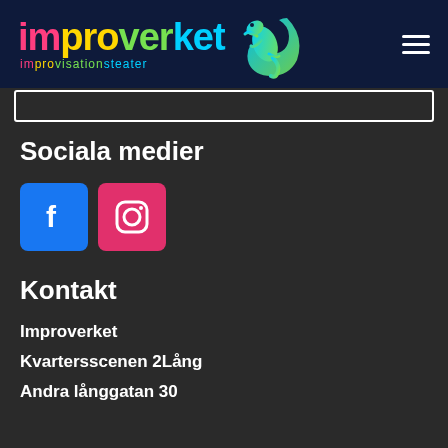[Figure (logo): Improverket improvisationsteater logo with colorful text and gecko icon, on dark navy background]
Sociala medier
[Figure (illustration): Facebook icon (blue square with white f) and Instagram icon (pink/red square with camera outline)]
Kontakt
Improverket
Kvartersscenen 2Lång
Andra långgatan 30